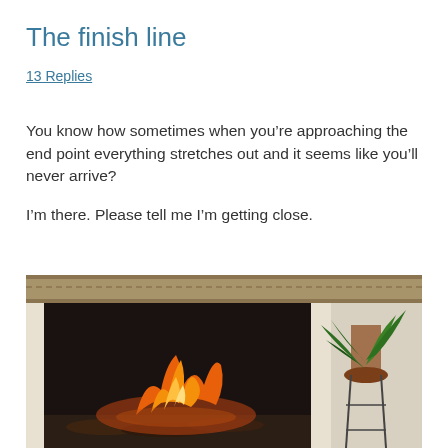The finish line
13 Replies
You know how sometimes when you’re approaching the end point everything stretches out and it seems like you’ll never arrive?
I’m there. Please tell me I’m getting close.
[Figure (photo): Photo of a lit fireplace with orange flames and burning logs, framed with a decorative surround. A plant on a metal stand is visible to the right side.]